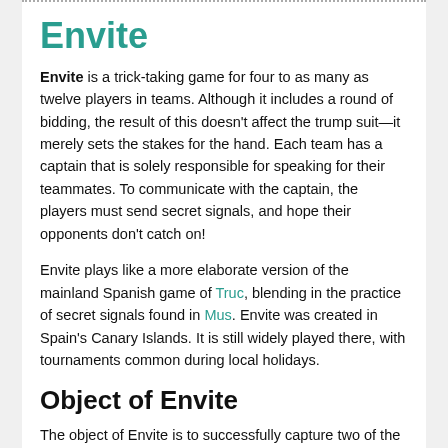Envite
Envite is a trick-taking game for four to as many as twelve players in teams. Although it includes a round of bidding, the result of this doesn't affect the trump suit—it merely sets the stakes for the hand. Each team has a captain that is solely responsible for speaking for their teammates. To communicate with the captain, the players must send secret signals, and hope their opponents don't catch on!
Envite plays like a more elaborate version of the mainland Spanish game of Truc, blending in the practice of secret signals found in Mus. Envite was created in Spain's Canary Islands. It is still widely played there, with tournaments common during local holidays.
Object of Envite
The object of Envite is to successfully capture two of the three tricks on each hand, thus scoring points.